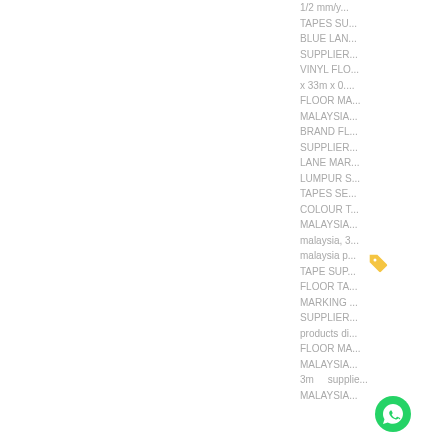1/2 mm/y... TAPES SU... BLUE LAN... SUPPLIER... VINYL FLO... x 33m x 0.... FLOOR MA... MALAYSIA... BRAND FL... SUPPLIER... LANE MAR... LUMPUR S... TAPES SE... COLOUR T... MALAYSIA... malaysia, 3... malaysia p... TAPE SUP... FLOOR TA... MARKING ... SUPPLIER... products di... FLOOR MA... MALAYSIA... 3m supplie... MALAYSIA...